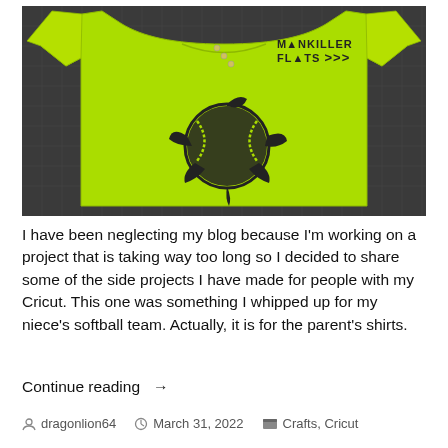[Figure (photo): A neon yellow-green short-sleeve polo shirt laid flat on a dark cutting mat. The shirt has a black graphic of a sea turtle whose shell is designed like a softball/baseball, with stitching visible. On the upper right chest area is a black text logo reading 'MANKILLER FLATS' with a mountain/arrow graphic.]
I have been neglecting my blog because I'm working on a project that is taking way too long so I decided to share some of the side projects I have made for people with my Cricut. This one was something I whipped up for my niece's softball team. Actually, it is for the parent's shirts.
Continue reading →
dragonlion64   March 31, 2022   Crafts, Cricut